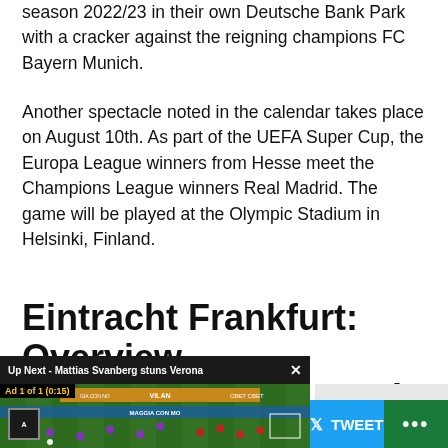season 2022/23 in their own Deutsche Bank Park with a cracker against the reigning champions FC Bayern Munich.
Another spectacle noted in the calendar takes place on August 10th. As part of the UEFA Super Cup, the Europa League winners from Hesse meet the Champions League winners Real Madrid. The game will be played at the Olympic Stadium in Helsinki, Finland.
Eintracht Frankfurt: Overview
ant dates
[Figure (screenshot): Video player overlay showing 'Up Next - Mattias Svanberg stuns Verona' with an ad (Ad 1 of 1, 0:15) playing over a football match on a green pitch. Mute button visible. Series A logo in bottom left.]
[Figure (screenshot): Gray box placeholder to the right of video overlay]
TWEET
...